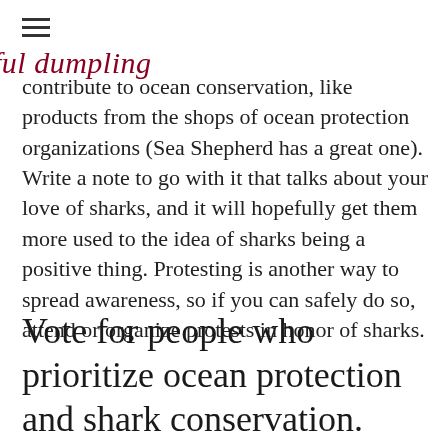peaceful dumpling
contribute to ocean conservation, like products from the shops of ocean protection organizations (Sea Shepherd has a great one). Write a note to go with it that talks about your love of sharks, and it will hopefully get them more used to the idea of sharks being a positive thing. Protesting is another way to spread awareness, so if you can safely do so, attend or organize protests in honor of sharks.
Vote for people who prioritize ocean protection and shark conservation.